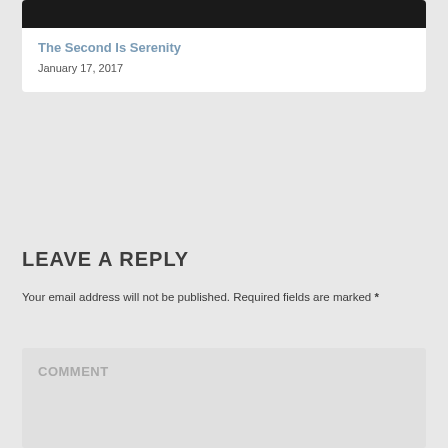[Figure (photo): Dark/black photograph at top of card]
The Second Is Serenity
January 17, 2017
LEAVE A REPLY
Your email address will not be published. Required fields are marked *
COMMENT